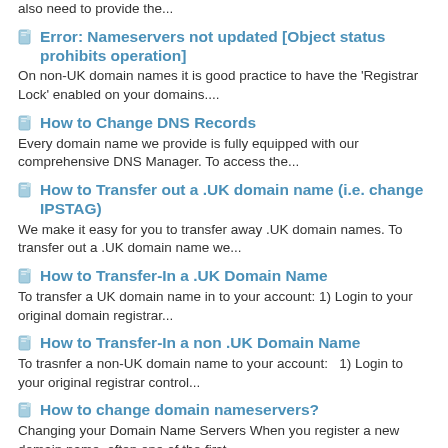also need to provide the...
Error: Nameservers not updated [Object status prohibits operation]
On non-UK domain names it is good practice to have the 'Registrar Lock' enabled on your domains....
How to Change DNS Records
Every domain name we provide is fully equipped with our comprehensive DNS Manager. To access the...
How to Transfer out a .UK domain name (i.e. change IPSTAG)
We make it easy for you to transfer away .UK domain names. To transfer out a .UK domain name we...
How to Transfer-In a .UK Domain Name
To transfer a UK domain name in to your account: 1) Login to your original domain registrar...
How to Transfer-In a non .UK Domain Name
To trasnfer a non-UK domain name to your account:   1) Login to your original registrar control...
How to change domain nameservers?
Changing your Domain Name Servers When you register a new domain name, often one of the first...
How to purchase WHOIS privacy for a non-uk domain name